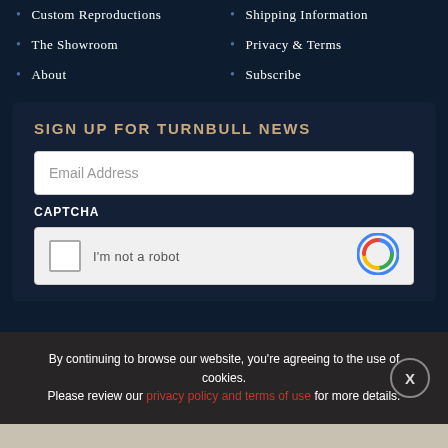Custom Reproductions
Shipping Information
The Showroom
Privacy & Terms
About
Subscribe
SIGN UP FOR TURNBULL NEWS
Email Address
CAPTCHA
[Figure (other): reCAPTCHA widget with checkbox and logo]
By continuing to browse our website, you're agreeing to the use of cookies. Please review our privacy policy and terms of use for more details.